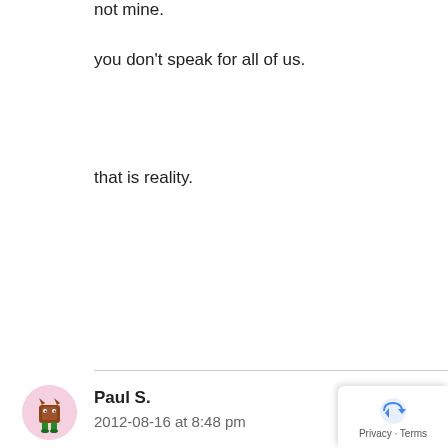not mine.
you don't speak for all of us.
that is reality.
Paul S.
2012-08-16 at 8:48 pm
[Figure (illustration): Cartoon monster avatar with brown body, horns, and green legs inside a pink circle]
[Figure (screenshot): Google Maps privacy/terms overlay with blue arrow icon]